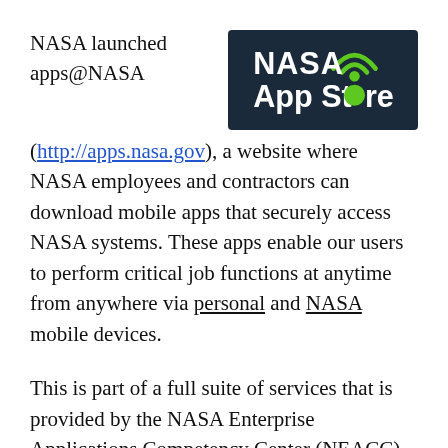NASA launched apps@NASA (http://apps.nasa.gov), a website where NASA employees and contractors can download mobile apps that securely access NASA systems.  These apps enable our users to perform critical job functions at anytime from anywhere via personal and NASA mobile devices.
[Figure (logo): NASA App Store logo — dark navy background with white text 'NASA App Store', green WiFi arc symbol above the 'o' in Store rendered as a green circle]
This is part of a full suite of services that is provided by the NASA Enterprise Applications Competency Center (NEACC).  The NEACC resides at NASA's Marshall Space Flight Center in Huntsville, Alabama.  It is supported by SAIC.